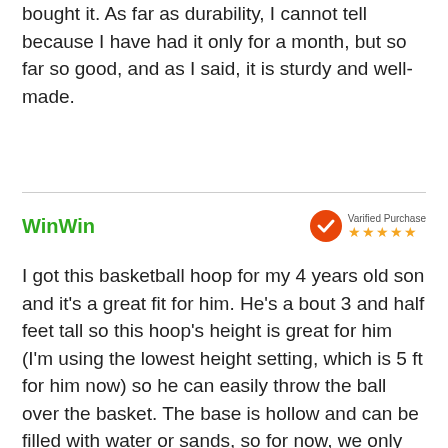bought it. As far as durability, I cannot tell because I have had it only for a month, but so far so good, and as I said, it is sturdy and well-made.
WinWin
Varified Purchase ★★★★★
I got this basketball hoop for my 4 years old son and it's a great fit for him. He's a bout 3 and half feet tall so this hoop's height is great for him (I'm using the lowest height setting, which is 5 ft for him now) so he can easily throw the ball over the basket. The base is hollow and can be filled with water or sands, so for now, we only added water and it's able to stand the hoop well. Maybe when we use the